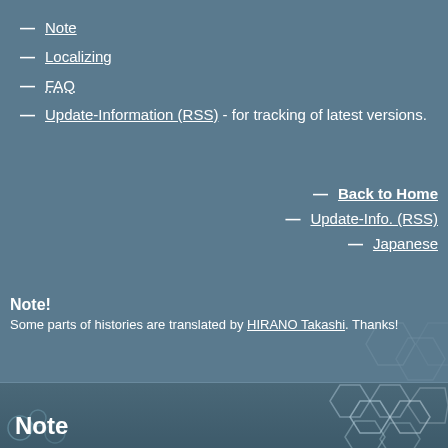Note
Localizing
FAQ
Update-Information (RSS) - for tracking of latest versions.
Back to Home
Update-Info. (RSS)
Japanese
Note!
Some parts of histories are translated by HIRANO Takashi. Thanks!
Note